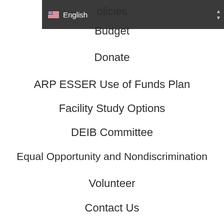[Figure (screenshot): Navigation bar with language selector showing English with US flag and dropdown chevrons]
olicies
Budget
Donate
ARP ESSER Use of Funds Plan
Facility Study Options
DEIB Committee
Equal Opportunity and Nondiscrimination
Volunteer
Contact Us
Privacy Policy
Our Schools
Abraham Lincoln
Downeast